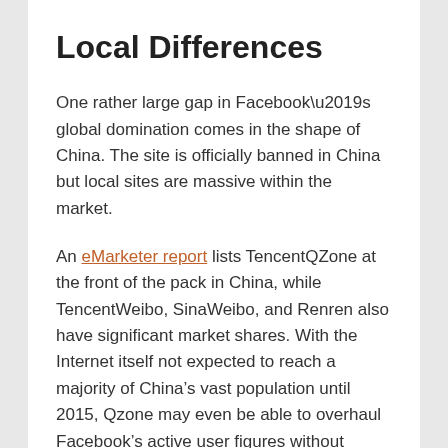Local Differences
One rather large gap in Facebook’s global domination comes in the shape of China. The site is officially banned in China but local sites are massive within the market.
An eMarketer report lists TencentQZone at the front of the pack in China, while TencentWeibo, SinaWeibo, and Renren also have significant market shares. With the Internet itself not expected to reach a majority of China’s vast population until 2015, Qzone may even be able to overhaul Facebook’s active user figures without having to expand very much outside Chinese borders.